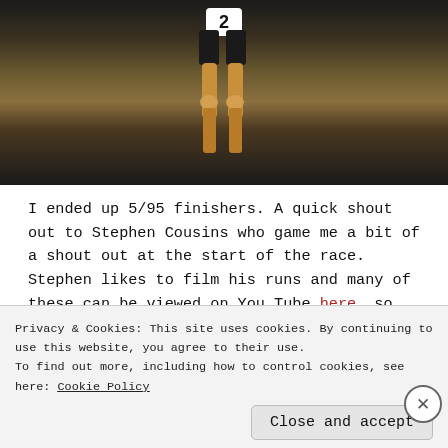[Figure (photo): A photo showing a runner from below wearing a bib number 2, with dark background of gravel and vegetation]
I ended up 5/95 finishers. A quick shout out to Stephen Cousins who game me a bit of a shout out at the start of the race. Stephen likes to film his runs and many of these can be viewed on You Tube here so the Phoenix Marathon may be making an appearance here in the near future.
After the event, I had a quick check of my marathon stats. To be honest, I only tend to run Marathon events as training runs for ultras and despite having run 40-50 ultras, this was only
Privacy & Cookies: This site uses cookies. By continuing to use this website, you agree to their use.
To find out more, including how to control cookies, see here: Cookie Policy
Close and accept